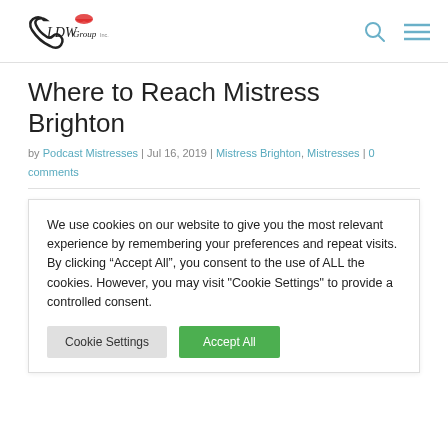LDW Group logo, search icon, menu icon
Where to Reach Mistress Brighton
by Podcast Mistresses | Jul 16, 2019 | Mistress Brighton, Mistresses | 0 comments
We use cookies on our website to give you the most relevant experience by remembering your preferences and repeat visits. By clicking “Accept All”, you consent to the use of ALL the cookies. However, you may visit "Cookie Settings" to provide a controlled consent.
Cookie Settings  Accept All